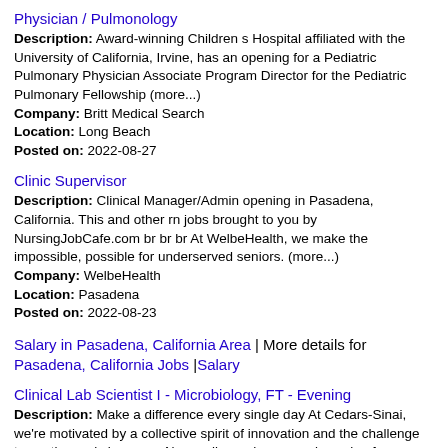Physician / Pulmonology
Description: Award-winning Children s Hospital affiliated with the University of California, Irvine, has an opening for a Pediatric Pulmonary Physician Associate Program Director for the Pediatric Pulmonary Fellowship (more...)
Company: Britt Medical Search
Location: Long Beach
Posted on: 2022-08-27
Clinic Supervisor
Description: Clinical Manager/Admin opening in Pasadena, California. This and other rn jobs brought to you by NursingJobCafe.com br br br At WelbeHealth, we make the impossible, possible for underserved seniors. (more...)
Company: WelbeHealth
Location: Pasadena
Posted on: 2022-08-23
Salary in Pasadena, California Area | More details for Pasadena, California Jobs |Salary
Clinical Lab Scientist I - Microbiology, FT - Evening
Description: Make a difference every single day At Cedars-Sinai, we're motivated by a collective spirit of innovation and the challenge to continuously improve. Above all, we share a real passion for helping others. (more...)
Company: CEDARS-SINAI